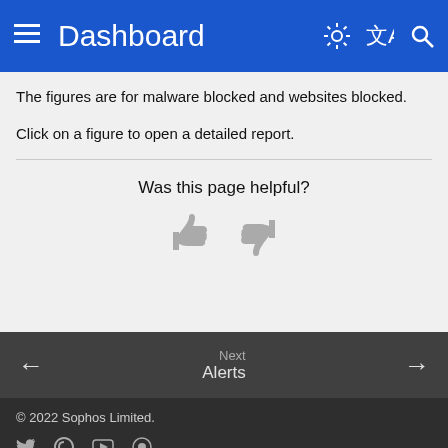Dashboard
The figures are for malware blocked and websites blocked.
Click on a figure to open a detailed report.
Was this page helpful?
[Figure (illustration): Thumbs up and thumbs down icons for page feedback]
Next Alerts →
© 2022 Sophos Limited. Social media icons: Twitter, Sophos, YouTube, Community